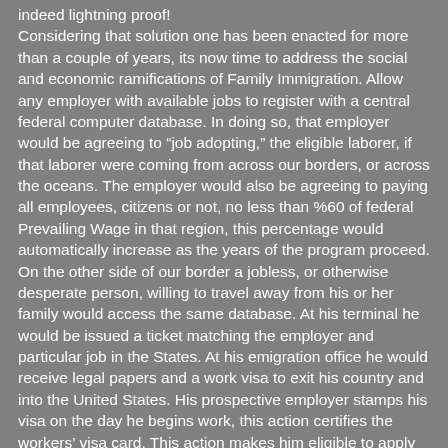indeed lightning proof! Considering that solution one has been enacted for more than a couple of years, its now time to address the social and economic ramifications of Family Immigration. Allow any employer with available jobs to register with a central federal computer database. In doing so, that employer would be agreeing to “job adopting,” the eligible laborer, if that laborer were coming from across our borders, or across the oceans. The employer would also be agreeing to paying all employees, citizens or not, no less than %60 of federal Prevailing Wage in that region, this percentage would automatically increase as the years of the program proceed. On the other side of our border a jobless, or otherwise desperate person, willing to travel away from his or her family would access the same database. At his terminal he would be issued a ticket matching the employer and particular job in the States. At his emigration office he would receive legal papers and a work visa to exit his country and into the United States. His prospective employer stamps his visa on the day he begins work, this action certifies the workers’ visa card. This action makes him eligible to apply for a drivers’ license marked with a prominent “NC,” for non